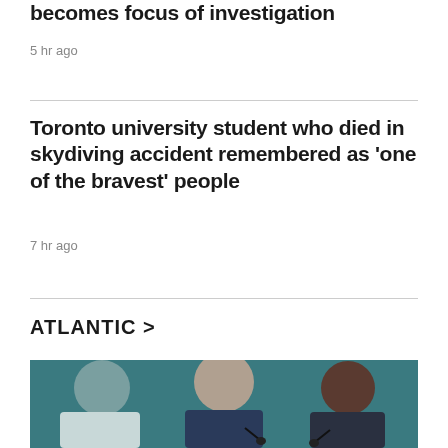becomes focus of investigation
5 hr ago
Toronto university student who died in skydiving accident remembered as 'one of the bravest' people
7 hr ago
ATLANTIC >
[Figure (photo): Three people seated at a table, a man in the center speaking, flanked by two women, in front of a teal background]